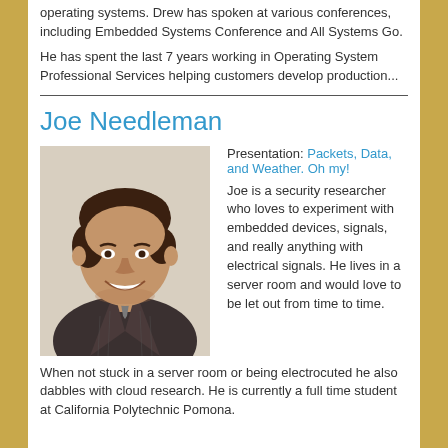operating systems. Drew has spoken at various conferences, including Embedded Systems Conference and All Systems Go.
He has spent the last 7 years working in Operating System Professional Services helping customers develop production...
Joe Needleman
[Figure (photo): Headshot photo of Joe Needleman, a young man with dark brown hair, smiling, wearing a striped suit jacket]
Presentation: Packets, Data, and Weather. Oh my!
Joe is a security researcher who loves to experiment with embedded devices, signals, and really anything with electrical signals. He lives in a server room and would love to be let out from time to time. When not stuck in a server room or being electrocuted he also dabbles with cloud research. He is currently a full time student at California Polytechnic Pomona.